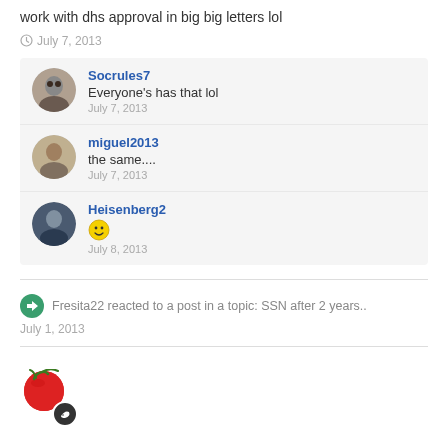work with dhs approval in big big letters lol
July 7, 2013
Socrules7
Everyone's has that lol
July 7, 2013
miguel2013
the same....
July 7, 2013
Heisenberg2
☺
July 8, 2013
Fresita22 reacted to a post in a topic: SSN after 2 years..
July 1, 2013